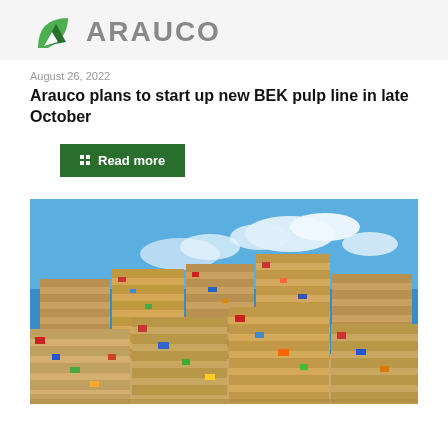[Figure (logo): Arauco company logo with green leaf/mountain icon and ARAUCO text in grey]
August 26, 2022
Arauco plans to start up new BEK pulp line in late October
Read more
[Figure (photo): Stacked bales of compressed recycled cardboard and mixed paper waste under a blue sky with clouds]